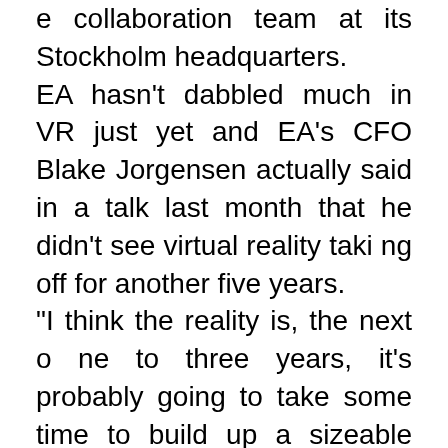e collaboration team at its Stockholm headquarters.</p><p>EA hasn't dabbled much in VR just yet and EA's CFO Blake Jorgensen actually said in a talk last month that he didn't see virtual reality taking off for another five years.</p><p>"I think the reality is, the next one to three years, it's probably going to take some time to build up a sizeable marketplace and you might see alternative uses for virtual reality first before it becomes gaming," Jorgensen said.</p><p>"Longer term, five plus years away, I think there's certainly a market there and it will be another exciting way to enjoy gaming."</p><p>Regardless, it appears DICE is going to take the plunge anyway.</p><p>EA's Johan Andersson tweeted about the openings and confirmed employees would be working on something in the Frostbite engine.</p><p>It's probably too late for this to mean Mirror's Edge, but a boy can hope, right?</p><p>There's a range of roles on offer, from VR creative director to software engineer and senior technical artists. If you fancy making the first VR Battlefield*, it might be worth taking a look.</p><p>*There's no indication at all that there's a V